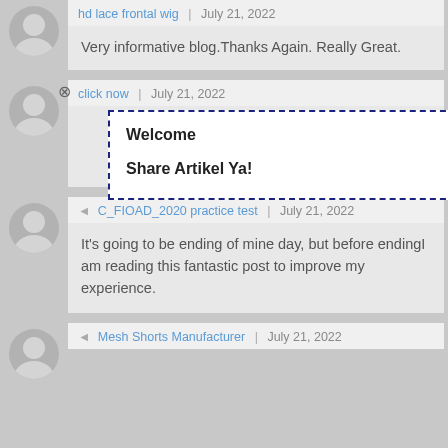[Figure (illustration): User avatar placeholder (silhouette)]
hd lace frontal wig | July 21, 2022
Very informative blog.Thanks Again. Really Great.
[Figure (illustration): User avatar placeholder (silhouette) with close X icon]
click now | July 21, 2022
[Figure (screenshot): Tooltip popup with dashed blue border containing 'Welcome' and 'Share Artikel Ya!']
Welcome

Share Artikel Ya!
[Figure (illustration): User avatar placeholder (silhouette)]
C_FIOAD_2020 practice test | July 21, 2022
It's going to be ending of mine day, but before endingI am reading this fantastic post to improve my experience.
[Figure (illustration): User avatar placeholder (silhouette)]
Mesh Shorts Manufacturer | July 21, 2022